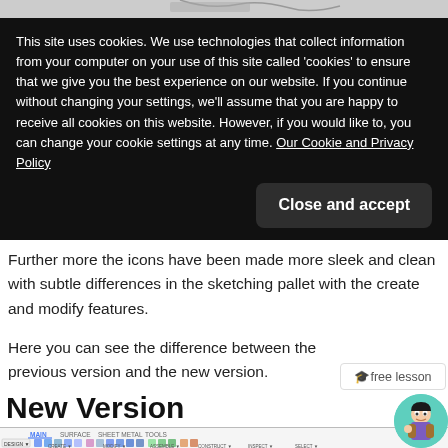[Figure (screenshot): Top strip showing partial toolbar/navigation from a software application]
This site uses cookies. We use technologies that collect information from your computer on your use of this site called 'cookies' to ensure that we give you the best experience on our website. If you continue without changing your settings, we'll assume that you are happy to receive all cookies on this website. However, if you would like to, you can change your cookie settings at any time. Our Cookie and Privacy Policy
Close and accept
Further more the icons have been made more sleek and clean with subtle differences in the sketching pallet with the create and modify features.
Here you can see the difference between the previous version and the new version.
🎓free lesson
New Version
[Figure (screenshot): Software toolbar showing MAIN, SURFACE, SHEET METAL, TOOLS tabs with various icons for CREATE, MODIFY, ASSEMBLE, CONSTRUCT, INSPECT, SELECT operations. An avatar/mascot character appears in the bottom right corner.]